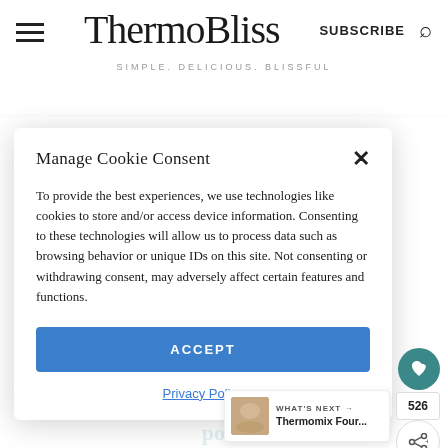ThermoBliss — SIMPLE. DELICIOUS. BLISSFUL — SUBSCRIBE
Manage Cookie Consent
To provide the best experiences, we use technologies like cookies to store and/or access device information. Consenting to these technologies will allow us to process data such as browsing behavior or unique IDs on this site. Not consenting or withdrawing consent, may adversely affect certain features and functions.
ACCEPT
Privacy Policy
meal ideas? You can find them post.